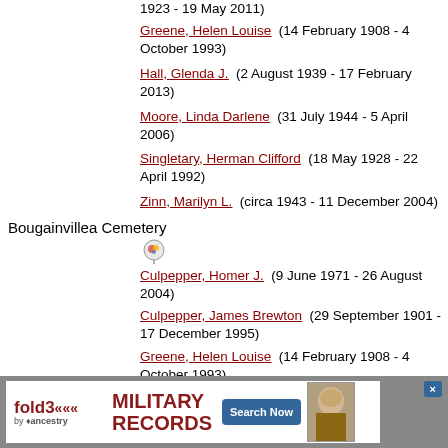1923 - 19 May 2011)
Greene, Helen Louise (14 February 1908 - 4 October 1993)
Hall, Glenda J. (2 August 1939 - 17 February 2013)
Moore, Linda Darlene (31 July 1944 - 5 April 2006)
Singletary, Herman Clifford (18 May 1928 - 22 April 1992)
Zinn, Marilyn L. (circa 1943 - 11 December 2004)
Bougainvillea Cemetery
[Figure (other): Map pin icon]
Culpepper, Homer J. (9 June 1971 - 26 August 2004)
Culpepper, James Brewton (29 September 1901 - 17 December 1995)
Greene, Helen Louise (14 February 1908 - 4 October 1993)
Zinn, Marilyn L. (circa 1943 - 11 December 2004)
Lake Placid
[Figure (screenshot): Fold3 Military Records advertisement banner with Search Now button]